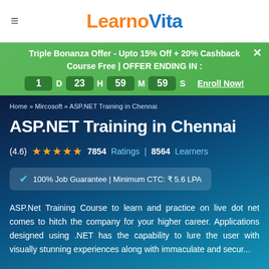LearnoVita
Triple Bonanza Offer - Upto 15% Off + 20% Cashback Course Free | OFFER ENDING IN : 1 D 23 H 59 M 59 S Enroll Now!
Home » Mircosoft » ASP.NET Training in Chennai
ASP.NET Training in Chennai
(4.6) ★★★★★  7854 Ratings | 8564 Learners
✓ 100% Job Guarantee | Minimum CTC: ₹ 5.6 LPA
ASP.Net Training Course to learn and practice on live dot net comes to hitch the company for your higher career. Applications designed using .NET has the capability to lure the user with visually stunning experiences along with immaculate and secur...